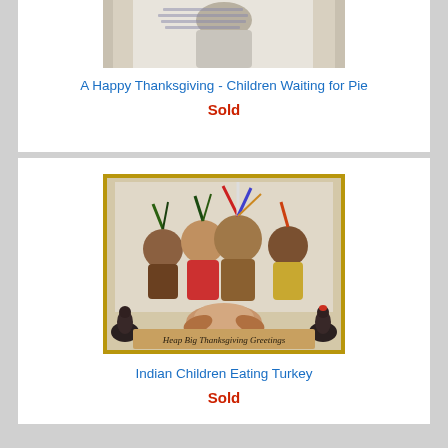[Figure (photo): Vintage Thanksgiving postcard showing children waiting for pie, partial view at top of card]
A Happy Thanksgiving - Children Waiting for Pie
Sold
[Figure (photo): Vintage Thanksgiving postcard titled 'Heap Big Thanksgiving Greetings' showing Native American children eating turkey, with turkeys on either side]
Indian Children Eating Turkey
Sold